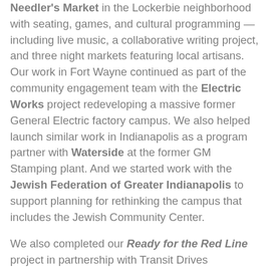Needler's Market in the Lockerbie neighborhood with seating, games, and cultural programming — including live music, a collaborative writing project, and three night markets featuring local artisans. Our work in Fort Wayne continued as part of the community engagement team with the Electric Works project redeveloping a massive former General Electric factory campus. We also helped launch similar work in Indianapolis as a program partner with Waterside at the former GM Stamping plant. And we started work with the Jewish Federation of Greater Indianapolis to support planning for rethinking the campus that includes the Jewish Community Center.
We also completed our Ready for the Red Line project in partnership with Transit Drives